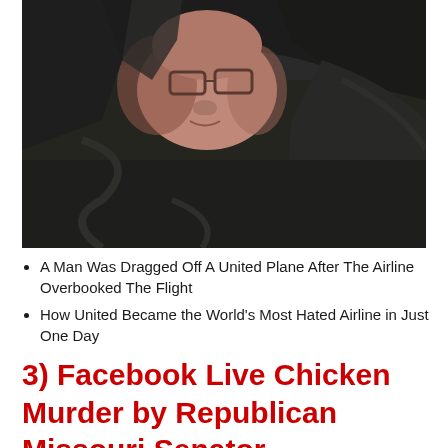[Figure (photo): Close-up photo of a man wearing glasses being forcibly removed, wrapped in dark clothing, face partially visible, dark blurry background]
A Man Was Dragged Off A United Plane After The Airline Overbooked The Flight
How United Became the World's Most Hated Airline in Just One Day
3) Facebook Live Chicken Murder by Republican Missouri Senator